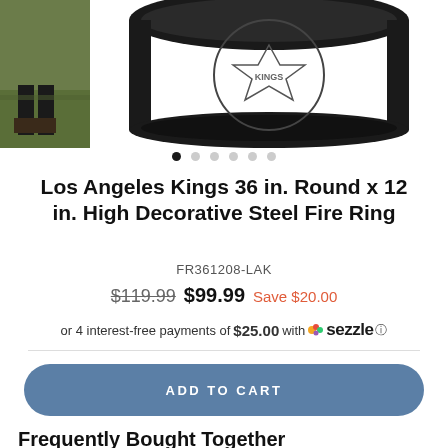[Figure (photo): Product image carousel showing a black decorative steel fire ring. Left side shows a thumbnail of a person wearing the item outdoors on grass. Main area shows the top portion of the black round fire ring with an engraved Kings logo.]
● ○ ○ ○ ○ ○
Los Angeles Kings 36 in. Round x 12 in. High Decorative Steel Fire Ring
FR361208-LAK
$119.99  $99.99  Save $20.00
or 4 interest-free payments of $25.00 with Sezzle ⓘ
ADD TO CART
Frequently Bought Together